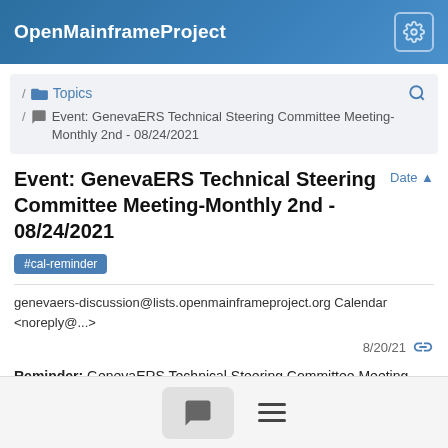OpenMainframeProject
/ Topics / Event: GenevaERS Technical Steering Committee Meeting-Monthly 2nd - 08/24/2021
Event: GenevaERS Technical Steering Committee Meeting-Monthly 2nd - 08/24/2021
#cal-reminder
genevaers-discussion@lists.openmainframeproject.org Calendar <noreply@...>
8/20/21
Reminder: GenevaERS Technical Steering Committee Meeting-Monthly 2nd